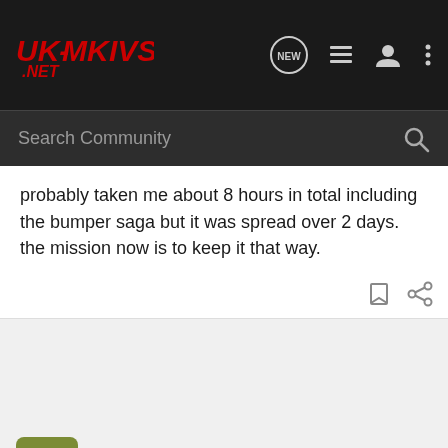[Figure (logo): UK-MKivs.net forum logo in red on dark background with navigation icons]
Search Community
probably taken me about 8 hours in total including the bumper saga but it was spread over 2 days. the mission now is to keep it that way.
Andrew · Registered
Joined Mar 3, 2004 · 1,173 Posts